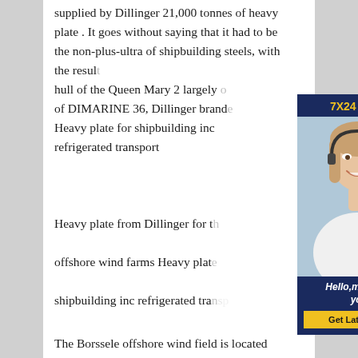supplied by Dillinger 21,000 tonnes of heavy plate . It goes without saying that it had to be the non-plus-ultra of shipbuilding steels, with the result hull of the Queen Mary 2 largely of DIMARINE 36, Dillinger branded Heavy plate for shipbuilding inc refrigerated transport
[Figure (photo): Advertisement banner with '7X24 Online' header in navy blue, photo of a smiling woman with a headset, and a call-to-action button 'Get Latest Price' with text 'Hello,may I help you?']
Heavy plate from Dillinger for th offshore wind farms Heavy plate shipbuilding inc refrigerated transport
The Borssele offshore wind field is located around 22 km off the coast of the Dutch province of Zeeland. It covers an area of 122 km², it is divided into four wind farms of approximately equal size, each with